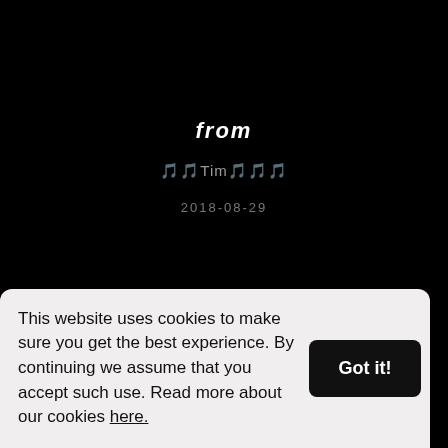from
🎵🎵Tim🎵🎵🎵
2018-08-29
from LAURA
This website uses cookies to make sure you get the best experience. By continuing we assume that you accept such use. Read more about our cookies here.
Got it!